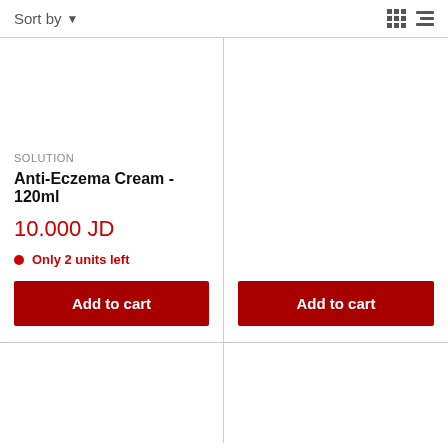Sort by
SOLUTION
Anti-Eczema Cream - 120ml
10.000 JD
Only 2 units left
Add to cart
Add to cart